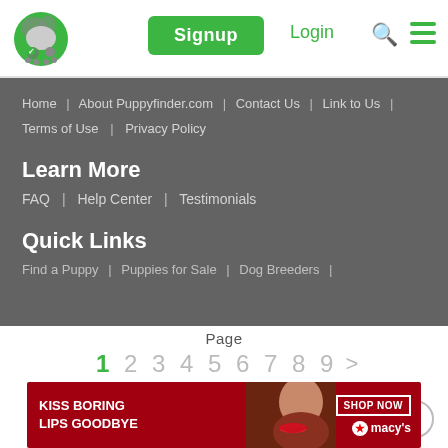Puppyfinder.com — Signup | Login
Home | About Puppyfinder.com | Contact Us | Link to Us | Terms of Use | Privacy Policy
Learn More
FAQ | Help Center | Testimonials
Quick Links
Find a Puppy | Puppies for Sale | Dog Breeders |
Page
1 2 3 4 5 6 7 8 9 >
Items per page: 20  40  60
[Figure (screenshot): Advertisement banner: KISS BORING LIPS GOODBYE — SHOP NOW — macy's]